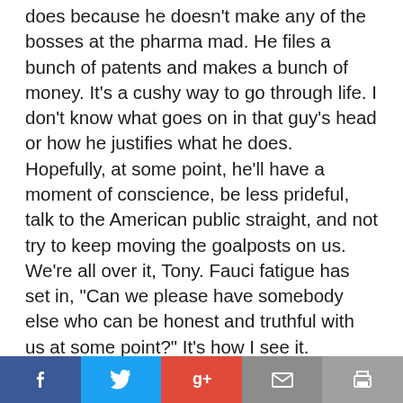does because he doesn't make any of the bosses at the pharma mad. He files a bunch of patents and makes a bunch of money. It's a cushy way to go through life. I don't know what goes on in that guy's head or how he justifies what he does. Hopefully, at some point, he'll have a moment of conscience, be less prideful, talk to the American public straight, and not try to keep moving the goalposts on us. We're all over it, Tony. Fauci fatigue has set in, “Can we please have somebody else who can be honest and truthful with us at some point?” It's how I see it.
[Figure (other): Social sharing bar with Facebook, Twitter, Google Plus, email, and print buttons]